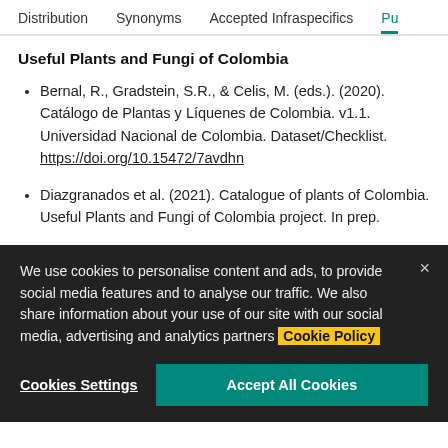Distribution  Synonyms  Accepted Infraspecifics  Pu
Useful Plants and Fungi of Colombia
Bernal, R., Gradstein, S.R., & Celis, M. (eds.). (2020). Catálogo de Plantas y Líquenes de Colombia. v1.1. Universidad Nacional de Colombia. Dataset/Checklist. https://doi.org/10.15472/7avdhn
Diazgranados et al. (2021). Catalogue of plants of Colombia. Useful Plants and Fungi of Colombia project. In prep.
We use cookies to personalise content and ads, to provide social media features and to analyse our traffic. We also share information about your use of our site with our social media, advertising and analytics partners Cookie Policy
Cookies Settings  Accept All Cookies